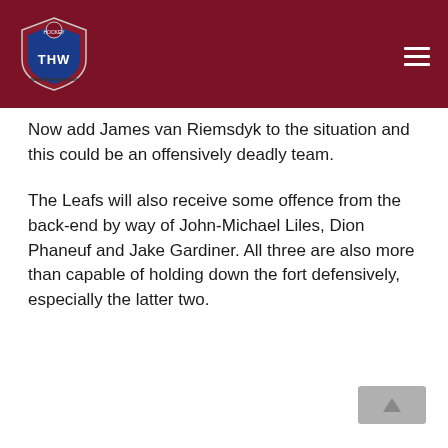THW
Now add James van Riemsdyk to the situation and this could be an offensively deadly team.
The Leafs will also receive some offence from the back-end by way of John-Michael Liles, Dion Phaneuf and Jake Gardiner. All three are also more than capable of holding down the fort defensively, especially the latter two.